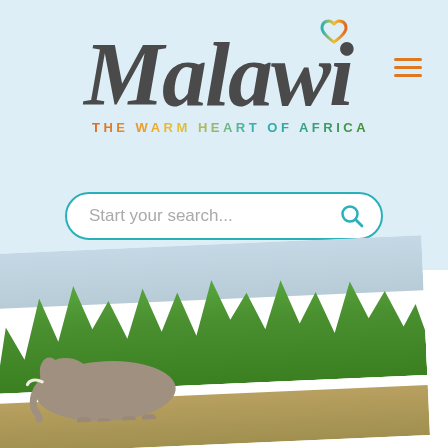[Figure (logo): Malawi tourism logo with stylized handwritten 'Malawi' text with a heart incorporated into the letter i, and tagline 'THE WARM HEART OF AFRICA' in multicolored letters. Hamburger menu icon in orange to the right.]
Start your search...
[Figure (photo): Photo of an elephant walking through African bush landscape with green trees and a light blue sky in the background.]